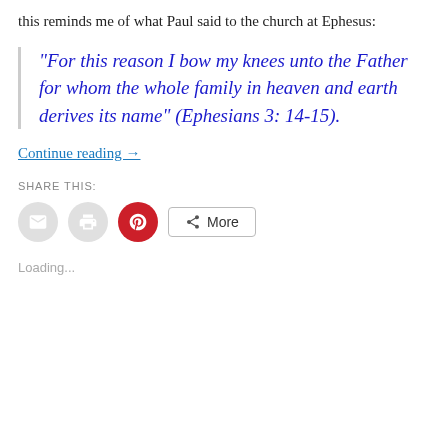this reminds me of what Paul said to the church at Ephesus:
“For this reason I bow my knees unto the Father for whom the whole family in heaven and earth derives its name” (Ephesians 3: 14-15).
Continue reading →
SHARE THIS:
[Figure (screenshot): Social share buttons: email icon (grey circle), print icon (grey circle), Pinterest icon (red circle with P), and More button with share icon]
Loading...